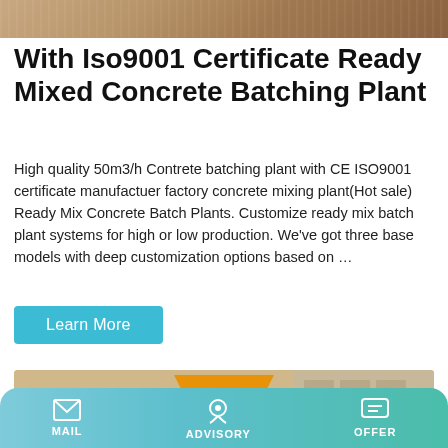[Figure (photo): Close-up texture of wood grain or stone surface, used as decorative top banner image]
With Iso9001 Certificate Ready Mixed Concrete Batching Plant
High quality 50m3/h Contrete batching plant with CE ISO9001 certificate manufactuer factory concrete mixing plant(Hot sale) Ready Mix Concrete Batch Plants. Customize ready mix batch plant systems for high or low production. We've got three base models with deep customization options based on …
Learn More
[Figure (photo): Yellow JZM350 concrete mixer machines lined up outdoors, with a brick building in the background. The front machine is labeled JZM350 and has Chinese text.]
MAIL   ADVISORY   OFFER